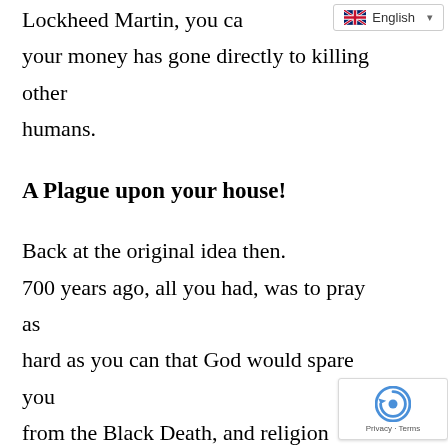Lockheed Martin, you can be sure your money has gone directly to killing other humans.
A Plague upon your house!
Back at the original idea then. 700 years ago, all you had, was to pray as hard as you can that God would spare you from the Black Death, and religion supported you. These days you have Science as your new